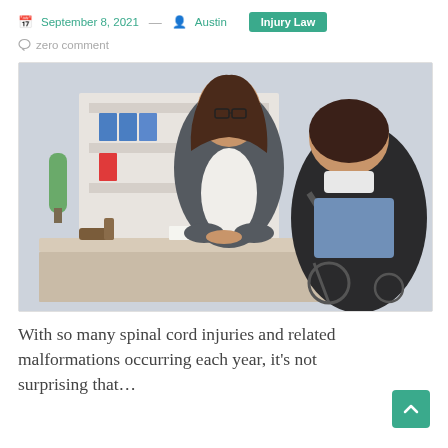September 8, 2021 — Austin  Injury Law
zero comment
[Figure (photo): A female lawyer in a suit sitting across a desk from a client in a wheelchair with a neck brace, in an office with bookshelves and binders. A gavel is visible on the desk.]
With so many spinal cord injuries and related malformations occurring each year, it's not surprising that…